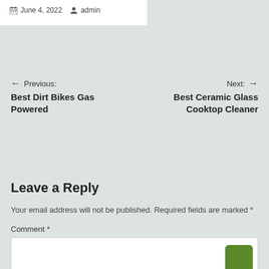June 4, 2022  admin
← Previous: Best Dirt Bikes Gas Powered
Next: → Best Ceramic Glass Cooktop Cleaner
Leave a Reply
Your email address will not be published. Required fields are marked *
Comment *